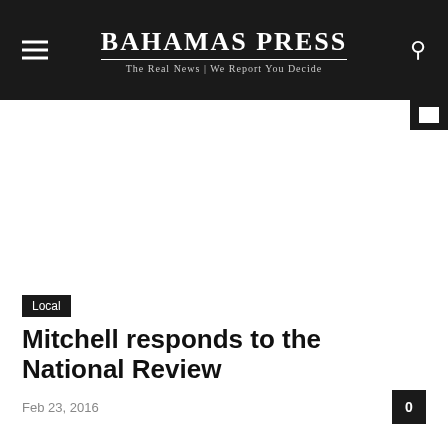Bahamas Press — The Real News | We Report You Decide
Local
Mitchell responds to the National Review
Feb 23, 2016